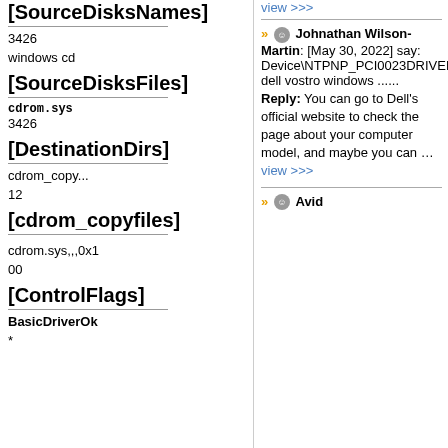[SourceDisksNames]
3426
windows cd
[SourceDisksFiles]
cdrom.sys
3426
[DestinationDirs]
cdrom_copy...
12
[cdrom_copyfiles]
cdrom.sys,,,0x100
[ControlFlags]
BasicDriverOk
*
view >>>
Johnathan Wilson-Martin: [May 30, 2022] say: Device\NTPNP_PCI0023DRIVERDevice\NTPNP_PCI0024DRIVERDevice\NTPNP_PCI0025DRIVERMy dell vostro windows ......
Reply: You can go to Dell's official website to check the page about your computer model, and maybe you can …view >>>
Avid